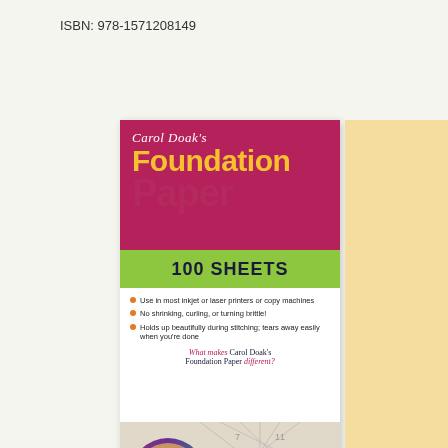ISBN: 978-1571208149
[Figure (photo): Book cover of Carol Doak's Foundation Paper, 100 Sheets. Features a magenta top section with the title, green band with '100 SHEETS', white section with bullet points about product features, and a photo of Carol Doak at the bottom.]